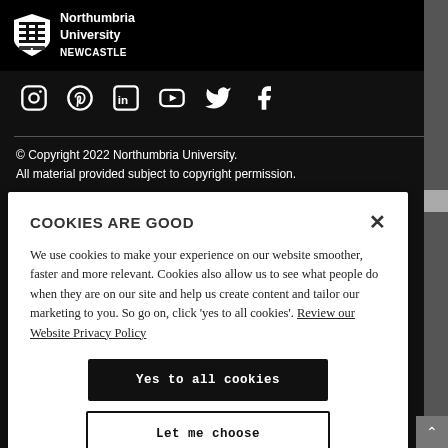[Figure (logo): Northumbria University Newcastle shield logo with text 'Northumbria University NEWCASTLE' in white on black background]
[Figure (infographic): Row of social media icons: Instagram, Pinterest, LinkedIn, YouTube, Twitter, Facebook — all white on dark background]
© Copyright 2022 Northumbria University.
All material provided subject to copyright permission.
COOKIES ARE GOOD
We use cookies to make your experience on our website smoother, faster and more relevant. Cookies also allow us to see what people do when they are on our site and help us create content and tailor our marketing to you. So go on, click 'yes to all cookies'. Review our Website Privacy Policy
Yes to all cookies
Let me choose